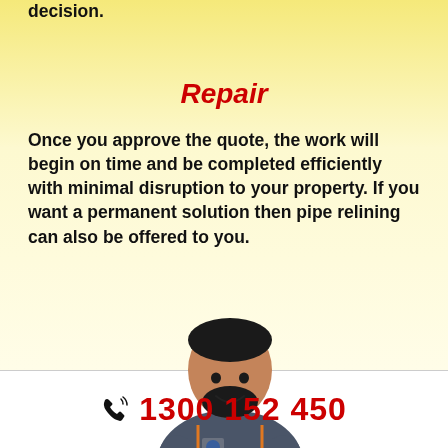decision.
Repair
Once you approve the quote, the work will begin on time and be completed efficiently with minimal disruption to your property. If you want a permanent solution then pipe relining can also be offered to you.
[Figure (photo): Smiling man in grey uniform shirt with Australian flag badge, leaning forward with hands clasped]
1300 152 450